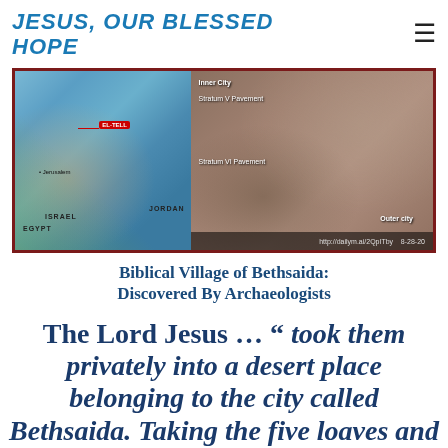JESUS, OUR BLESSED HOPE
[Figure (photo): Composite image: left side shows a map with Israel, Jordan, Egypt, Jerusalem, and El-Tell marked with a red arrow; right side shows an aerial photo of an archaeological excavation site with labels: Inner City, Stratum V Pavement, Stratum VI Pavement, Outer city. Source: http://dailym.ai/2QpITby  8-28-20]
Biblical Village of Bethsaida: Discovered By Archaeologists
The Lord Jesus … " took them privately into a desert place belonging to the city called Bethsaida. Taking the five loaves and the two fish and looking up